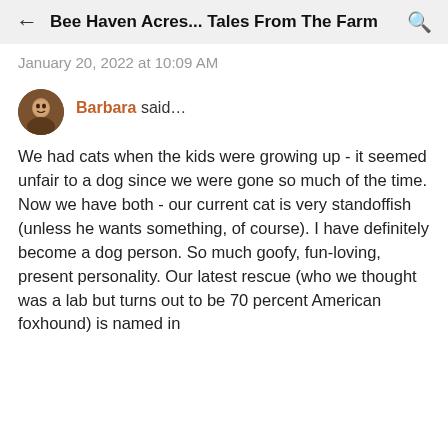← Bee Haven Acres... Tales From The Farm 🔍
January 20, 2022 at 10:09 AM
Barbara said...
We had cats when the kids were growing up - it seemed unfair to a dog since we were gone so much of the time. Now we have both - our current cat is very standoffish (unless he wants something, of course). I have definitely become a dog person. So much goofy, fun-loving, present personality. Our latest rescue (who we thought was a lab but turns out to be 70 percent American foxhound) is named in